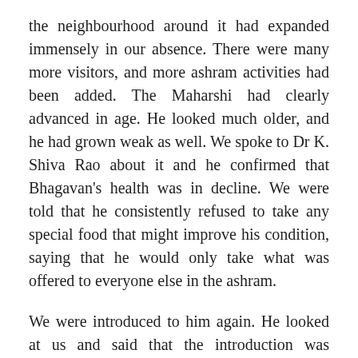the neighbourhood around it had expanded immensely in our absence. There were many more visitors, and more ashram activities had been added. The Maharshi had clearly advanced in age. He looked much older, and he had grown weak as well. We spoke to Dr K. Shiva Rao about it and he confirmed that Bhagavan's health was in decline. We were told that he consistently refused to take any special food that might improve his condition, saying that he would only take what was offered to everyone else in the ashram.
We were introduced to him again. He looked at us and said that the introduction was superfluous since we had been introduced by Frydman many years before. He remembered us. Life in the hall was more active and varied than on our earlier visit.